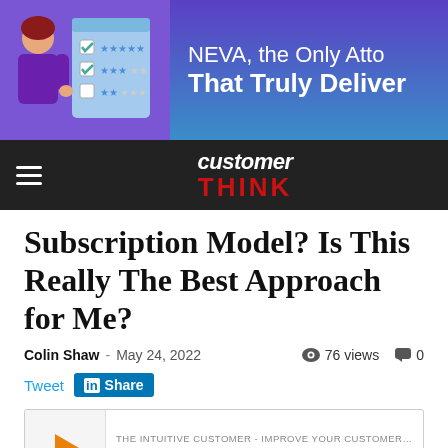[Figure (illustration): Banner advertisement: NEVA, the Only Atto... That Truly Deliver... with cartoon woman and checklist graphic, purple/blue gradient background]
customer THINK
Subscription Model? Is This Really The Best Approach for Me?
Colin Shaw - May 24, 2022  76 views  0
Tweet  Share
THE INTUITIVE CUSTOMER - IMPROVE YOUR CUSTOMER EXPERIENC  Subscription Model? Is This Really The Best Appr...